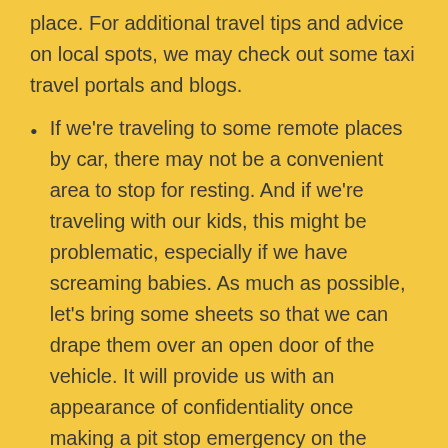place. For additional travel tips and advice on local spots, we may check out some taxi travel portals and blogs.
If we're traveling to some remote places by car, there may not be a convenient area to stop for resting. And if we're traveling with our kids, this might be problematic, especially if we have screaming babies. As much as possible, let's bring some sheets so that we can drape them over an open door of the vehicle. It will provide us with an appearance of confidentiality once making a pit stop emergency on the roadside. Speaking of tent and camping materials, it might be better to choose a truck with one of those truck bed covers, as such accessories are convenient for storing your things during a long